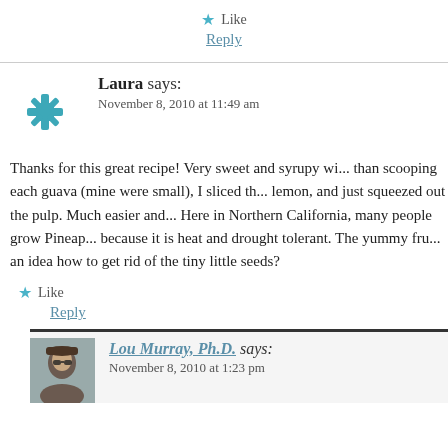★ Like
Reply
Laura says:
November 8, 2010 at 11:49 am
Thanks for this great recipe! Very sweet and syrupy wi... than scooping each guava (mine were small), I sliced th... lemon, and just squeezed out the pulp. Much easier and... Here in Northern California, many people grow Pineap... because it is heat and drought tolerant. The yummy fru... an idea how to get rid of the tiny little seeds?
★ Like
Reply
Lou Murray, Ph.D. says:
November 8, 2010 at 1:23 pm